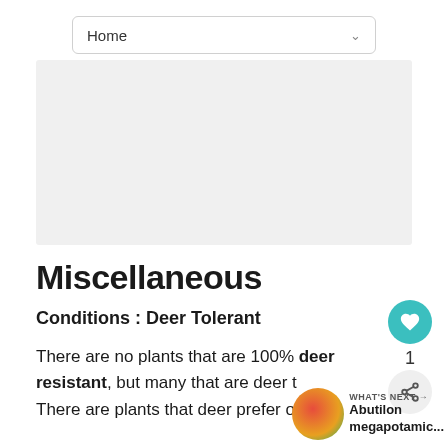Home
[Figure (other): Advertisement or placeholder image area, light gray background]
Miscellaneous
Conditions : Deer Tolerant
There are no plants that are 100% deer resistant, but many that are deer tolerant. There are plants that deer prefer over others. You will find that what deer will or will not